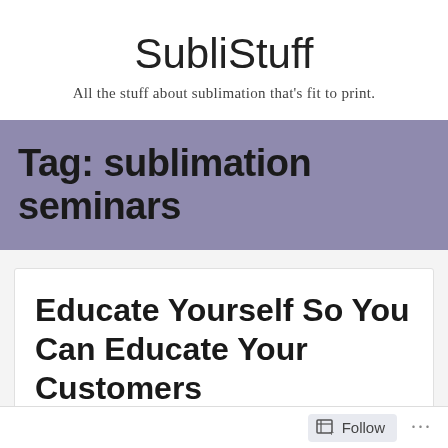SubliStuff
All the stuff about sublimation that's fit to print.
Tag: sublimation seminars
Educate Yourself So You Can Educate Your Customers
Follow ...